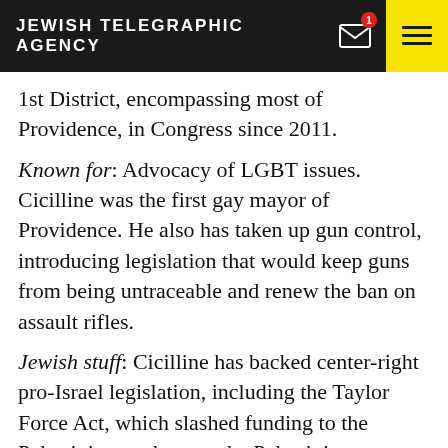JEWISH TELEGRAPHIC AGENCY
1st District, encompassing most of Providence, in Congress since 2011.
Known for: Advocacy of LGBT issues. Cicilline was the first gay mayor of Providence. He also has taken up gun control, introducing legislation that would keep guns from being untraceable and renew the ban on assault rifles.
Jewish stuff: Cicilline has backed center-right pro-Israel legislation, including the Taylor Force Act, which slashed funding to the Palestinians as long as the Palestinian Authority continued payouts to the families of Palestinians captured or killed while attacking Israelis. On a long Israel page on his campaign website